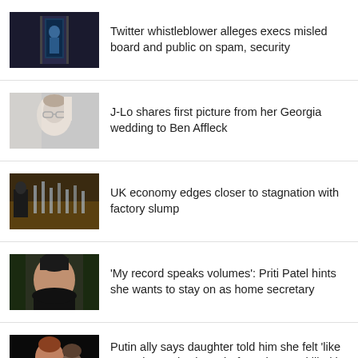[Figure (photo): Dark image of a person at a podium or booth]
Twitter whistleblower alleges execs misled board and public on spam, security
[Figure (photo): Close-up portrait of a woman, soft focus, light tones]
J-Lo shares first picture from her Georgia wedding to Ben Affleck
[Figure (photo): Factory or industrial scene with glassware]
UK economy edges closer to stagnation with factory slump
[Figure (photo): Portrait of a woman outdoors, dark clothing]
'My record speaks volumes': Priti Patel hints she wants to stay on as home secretary
[Figure (photo): Two people, woman in foreground, man behind, dark background]
Putin ally says daughter told him she felt 'like a warrior' and 'a hero' before she was killed in car bombing